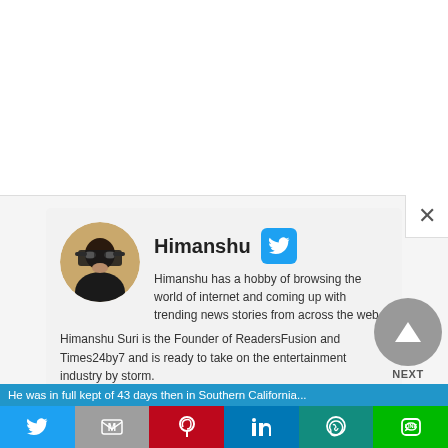[Figure (screenshot): Close (X) button in top right corner of a modal overlay]
[Figure (photo): Circular profile photo of Himanshu — a man wearing sunglasses]
Himanshu
[Figure (logo): Twitter bird icon in a blue rounded square]
Himanshu has a hobby of browsing the world of internet and coming up with trending news stories from across the web. Himanshu Suri is the Founder of ReadersFusion and Times24by7 and is ready to take on the entertainment industry by storm.
[Figure (infographic): NEXT navigation button with upward triangle arrow on gray circle]
He was in full kept of 43 days then in Southern California...
[Figure (infographic): Social share bar with Twitter, Gmail, Pinterest, LinkedIn, WhatsApp, and Line buttons]